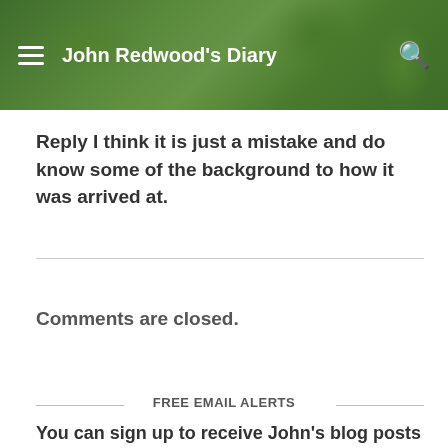John Redwood's Diary
Reply I think it is just a mistake and do know some of the background to how it was arrived at.
Comments are closed.
FREE EMAIL ALERTS
You can sign up to receive John's blog posts by e-mail for free by submiting your email address in the box below.